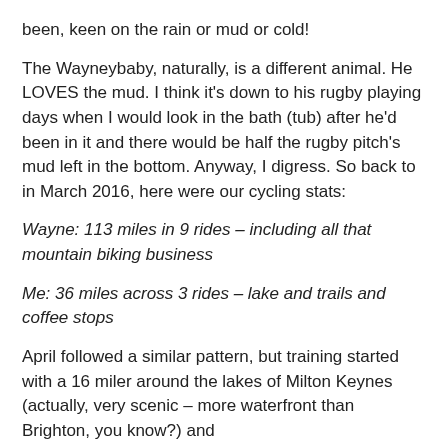been, keen on the rain or mud or cold!
The Wayneybaby, naturally, is a different animal. He LOVES the mud. I think it's down to his rugby playing days when I would look in the bath (tub) after he'd been in it and there would be half the rugby pitch's mud left in the bottom. Anyway, I digress. So back to in March 2016, here were our cycling stats:
Wayne: 113 miles in 9 rides – including all that mountain biking business
Me: 36 miles across 3 rides – lake and trails and coffee stops
April followed a similar pattern, but training started with a 16 miler around the lakes of Milton Keynes (actually, very scenic – more waterfront than Brighton, you know?) and